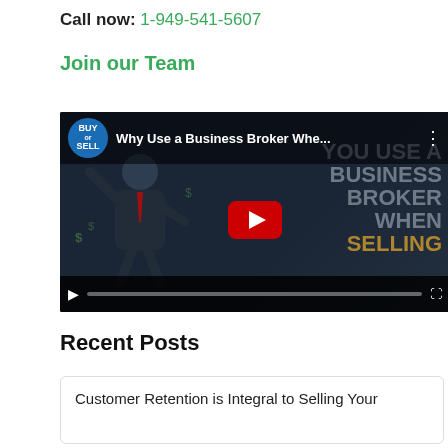Call now: 1-949-541-5607
Join our Team
[Figure (screenshot): YouTube video thumbnail showing 'Why Use a Business Broker Whe...' with a business broker animated character and a red YouTube play button, channel logo 'BUY or SELL', and video progress bar at bottom.]
Recent Posts
Customer Retention is Integral to Selling Your Business